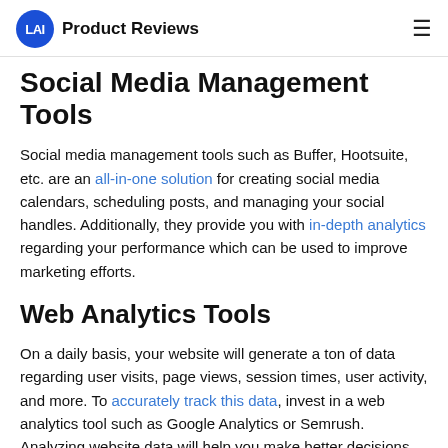LAI Product Reviews
Social Media Management Tools
Social media management tools such as Buffer, Hootsuite, etc. are an all-in-one solution for creating social media calendars, scheduling posts, and managing your social handles. Additionally, they provide you with in-depth analytics regarding your performance which can be used to improve marketing efforts.
Web Analytics Tools
On a daily basis, your website will generate a ton of data regarding user visits, page views, session times, user activity, and more. To accurately track this data, invest in a web analytics tool such as Google Analytics or Semrush. Analyzing website data will help you make better decisions